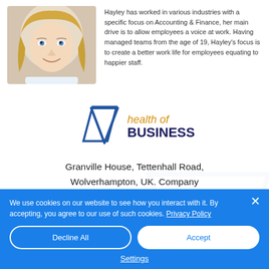[Figure (photo): Headshot photo of a blonde woman smiling]
Hayley has worked in various industries with a specific focus on Accounting & Finance, her main drive is to allow employees a voice at work. Having managed teams from the age of 19, Hayley's focus is to create a better work life for employees equating to happier staff.
[Figure (logo): Health of Business logo — blue chevron/triangle shape next to text 'health of BUSINESS']
Granville House, Tettenhall Road, Wolverhampton, UK. Company
We use cookies on our website to see how you interact with it. By accepting, you agree to our use of such cookies. Privacy Policy
Decline All
Accept
Settings